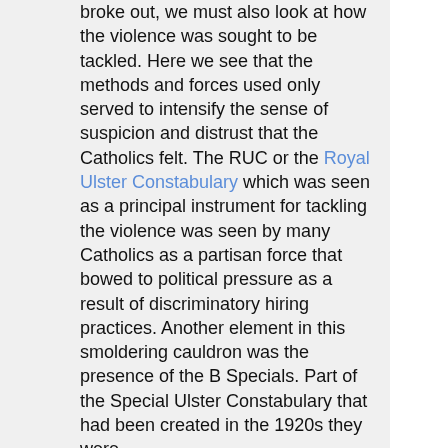broke out, we must also look at how the violence was sought to be tackled. Here we see that the methods and forces used only served to intensify the sense of suspicion and distrust that the Catholics felt. The RUC or the Royal Ulster Constabulary which was seen as a principal instrument for tackling the violence was seen by many Catholics as a partisan force that bowed to political pressure as a result of discriminatory hiring practices. Another element in this smoldering cauldron was the presence of the B Specials. Part of the Special Ulster Constabulary that had been created in the 1920s they were